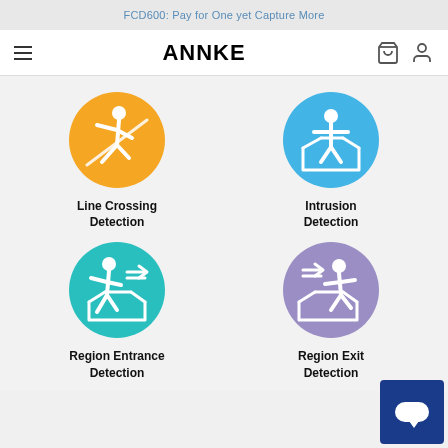FCD600: Pay for One yet Capture More
[Figure (logo): ANNKE logo with hamburger menu icon, shopping cart icon, and user icon in navigation bar]
[Figure (infographic): Four feature icons in a 2x2 grid: Line Crossing Detection (orange circle with running person crossing a line), Intrusion Detection (blue circle with person standing in a box), Region Entrance Detection (teal circle with person entering a region), Region Exit Detection (purple circle with person exiting a region)]
Line Crossing Detection
Intrusion Detection
Region Entrance Detection
Region Exit Detection